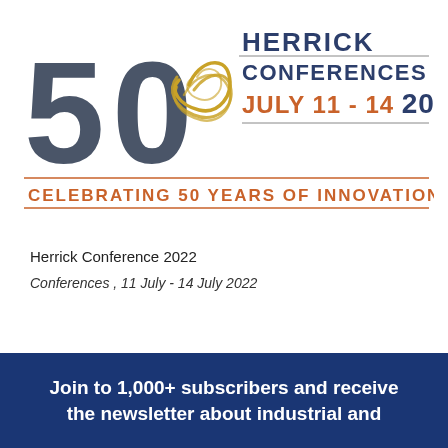[Figure (logo): Herrick Conferences 50th anniversary logo with swirl graphic, text 'HERRICK CONFERENCES', 'JULY 11 - 14 2022', and 'CELEBRATING 50 YEARS OF INNOVATION']
Herrick Conference 2022
Conferences , 11 July - 14 July 2022
Join to 1,000+ subscribers and receive the newsletter about industrial and